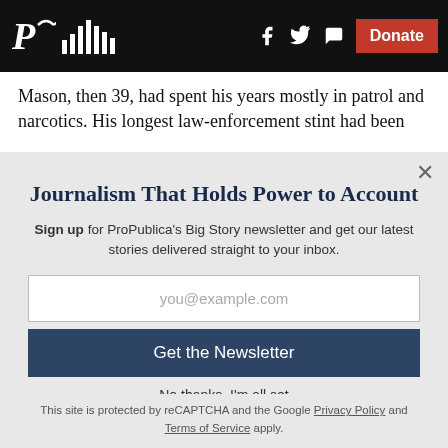ProPublica header with logo, social icons, and Donate button
Mason, then 39, had spent his years mostly in patrol and narcotics. His longest law-enforcement stint had been
Journalism That Holds Power to Account
Sign up for ProPublica's Big Story newsletter and get our latest stories delivered straight to your inbox.
you@example.com
Get the Newsletter
No thanks, I'm all set
This site is protected by reCAPTCHA and the Google Privacy Policy and Terms of Service apply.